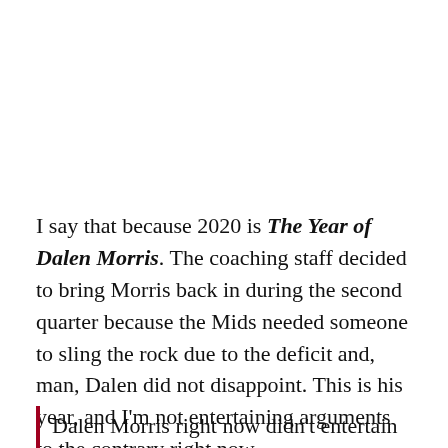I say that because 2020 is The Year of Dalen Morris. The coaching staff decided to bring Morris back in during the second quarter because the Mids needed someone to sling the rock due to the deficit and, man, Dalen did not disappoint. This is his year, and I'm not entertaining arguments to the contrary right now.
Dalen Morris right now didn't entertain the...